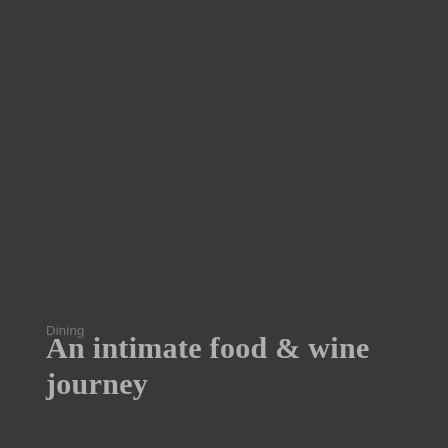Dining
An intimate food & wine journey